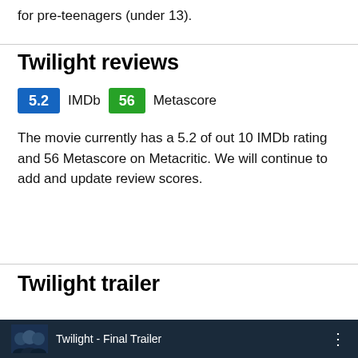for pre-teenagers (under 13).
Twilight reviews
5.2 IMDb  56 Metascore
The movie currently has a 5.2 of out 10 IMDb rating and 56 Metascore on Metacritic. We will continue to add and update review scores.
Twilight trailer
[Figure (screenshot): Twilight - Final Trailer video thumbnail with dark blue background showing character silhouettes]